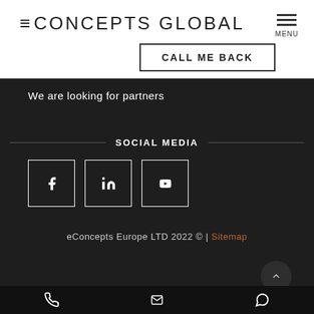ECONCEPTS GLOBAL
CALL ME BACK
We are looking for partners
SOCIAL MEDIA
[Figure (other): Social media icon buttons: Facebook, LinkedIn, YouTube]
eConcepts Europe LTD 2022 © | Sitemap
[Figure (other): Bottom navigation bar with phone, email, and WhatsApp icons]